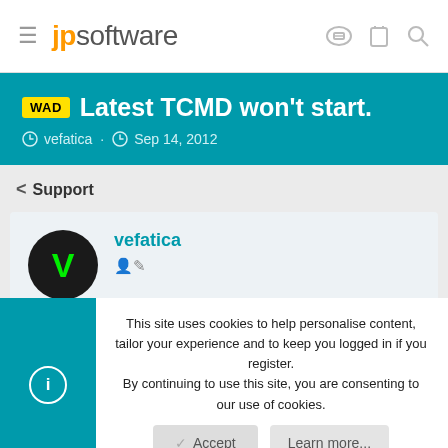jpsoftware
WAD Latest TCMD won't start.
vefatica · Sep 14, 2012
< Support
vefatica
This site uses cookies to help personalise content, tailor your experience and to keep you logged in if you register. By continuing to use this site, you are consenting to our use of cookies.
Accept
Learn more...